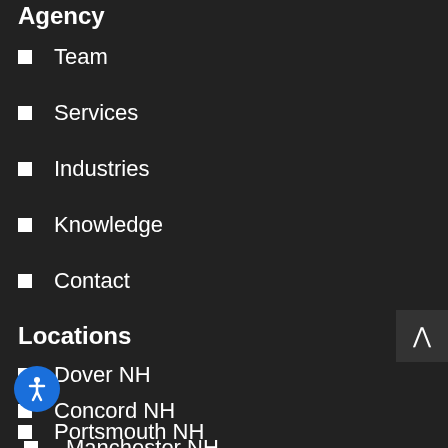Agency
Team
Services
Industries
Knowledge
Contact
Locations
Dover NH
Concord NH
Portsmouth NH
Manchester NH